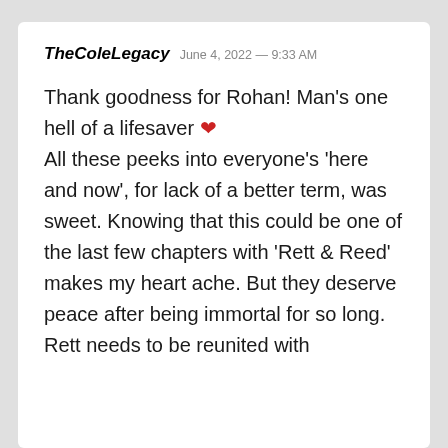TheColeLegacy  June 4, 2022 — 9:33 AM
Thank goodness for Rohan! Man's one hell of a lifesaver ❤ All these peeks into everyone's 'here and now', for lack of a better term, was sweet. Knowing that this could be one of the last few chapters with 'Rett & Reed' makes my heart ache. But they deserve peace after being immortal for so long. Rett needs to be reunited with